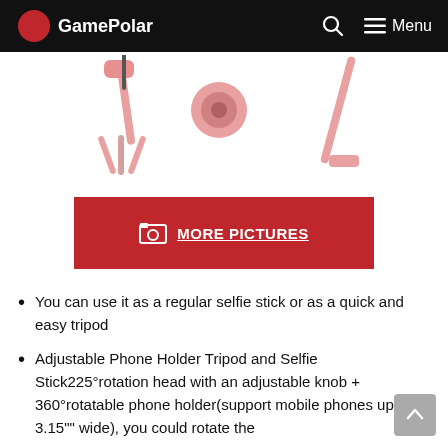GamePolar
[Figure (photo): Pink selfie stick / tripod product images shown from multiple angles on white background]
[Figure (other): Red MORE PICTURES button with image icon]
You can use it as a regular selfie stick or as a quick and easy tripod
Adjustable Phone Holder Tripod and Selfie Stick225°rotation head with an adjustable knob + 360°rotatable phone holder(support mobile phones up to 3.15"" wide), you could rotate the